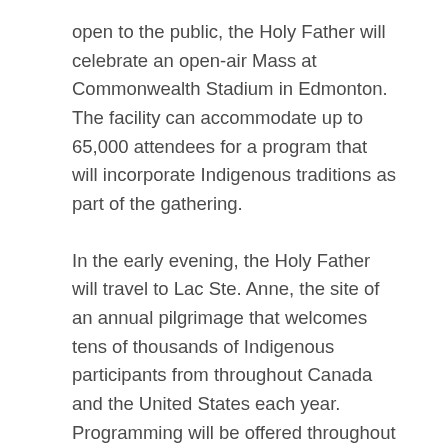open to the public, the Holy Father will celebrate an open-air Mass at Commonwealth Stadium in Edmonton. The facility can accommodate up to 65,000 attendees for a program that will incorporate Indigenous traditions as part of the gathering.
In the early evening, the Holy Father will travel to Lac Ste. Anne, the site of an annual pilgrimage that welcomes tens of thousands of Indigenous participants from throughout Canada and the United States each year. Programming will be offered throughout the day leading up to the Holy Father's participation in a prayer service.
July 27, 2022
The Holy Father will depart Edmonton for Quebec